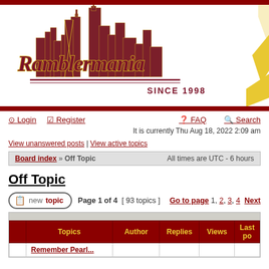[Figure (logo): Ramblermania logo with Chicago skyline silhouette in dark red/maroon, script text 'Ramblermania' in maroon with gold outline, tagline 'SINCE 1998', and a gold star partially visible on the right]
Login | Register | FAQ | Search
It is currently Thu Aug 18, 2022 2:09 am
View unanswered posts | View active topics
Board index » Off Topic   All times are UTC - 6 hours
Off Topic
Page 1 of 4  [ 93 topics ]   Go to page 1, 2, 3, 4  Next
| Topics | Author | Replies | Views | Last p... |
| --- | --- | --- | --- | --- |
| Remember Pearl... |  |  |  |  |